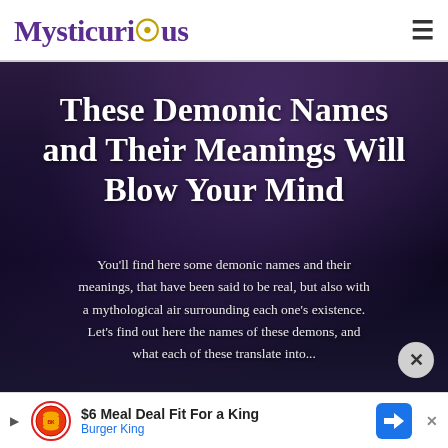Mysticurious
These Demonic Names and Their Meanings Will Blow Your Mind
You'll find here some demonic names and their meanings, that have been said to be real, but also with a mythological air surrounding each one's existence. Let's find out here the names of these demons, and what each of these translate into...
[Figure (screenshot): Advertisement banner for Burger King: $6 Meal Deal Fit For a King with Burger King logo and navigation icon]